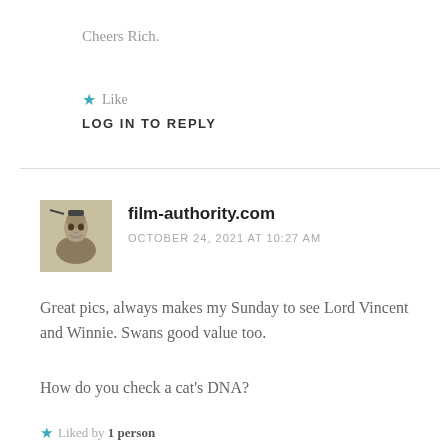Cheers Rich.
★ Like
LOG IN TO REPLY
film-authority.com
OCTOBER 24, 2021 AT 10:27 AM
Great pics, always makes my Sunday to see Lord Vincent and Winnie. Swans good value too.
How do you check a cat’s DNA?
★ Liked by 1 person